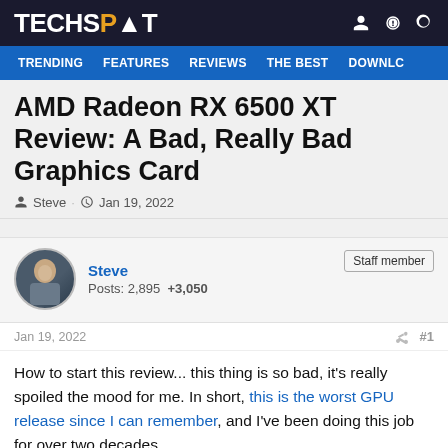TECHSPOT
TRENDING  FEATURES  REVIEWS  THE BEST  DOWNLC
AMD Radeon RX 6500 XT Review: A Bad, Really Bad Graphics Card
Steve · Jan 19, 2022
Steve
Posts: 2,895  +3,050
Staff member
Jan 19, 2022  #1
How to start this review... this thing is so bad, it's really spoiled the mood for me. In short, this is the worst GPU release since I can remember, and I've been doing this job for over two decades.